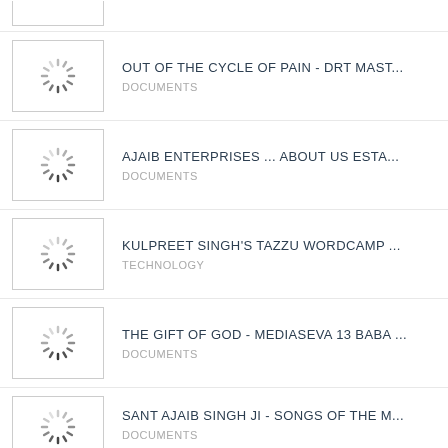OUT OF THE CYCLE OF PAIN - DRT MAST...
DOCUMENTS
AJAIB ENTERPRISES ... ABOUT US ESTA...
DOCUMENTS
KULPREET SINGH'S TAZZU WORDCAMP ...
TECHNOLOGY
THE GIFT OF GOD - MEDIASEVA 13 BABA ...
DOCUMENTS
SANT AJAIB SINGH JI - SONGS OF THE M...
DOCUMENTS